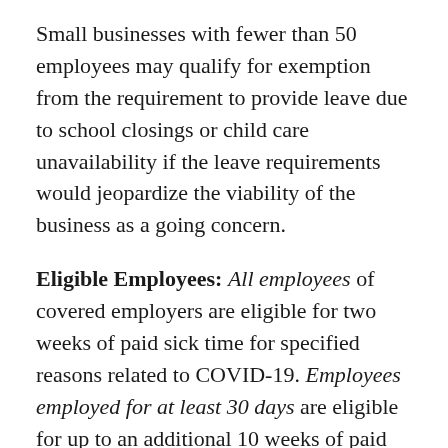Small businesses with fewer than 50 employees may qualify for exemption from the requirement to provide leave due to school closings or child care unavailability if the leave requirements would jeopardize the viability of the business as a going concern.
Eligible Employees: All employees of covered employers are eligible for two weeks of paid sick time for specified reasons related to COVID-19. Employees employed for at least 30 days are eligible for up to an additional 10 weeks of paid family leave to care for a child under certain circumstances related to COVID-19.[2].
Notice: Where leave is foreseeable, an employee should provide notice of leave to